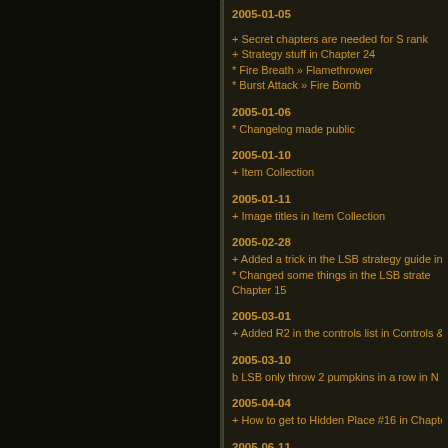2005-01-05
+ Secret chapters are needed for S rank
+ Strategy stuff in Chapter 24
* Fire Breath » Flamethrower
* Burst Attack » Fire Bomb
2005-01-06
* Changelog made public
2005-01-10
+ Item Collection
2005-01-11
+ Image titles in Item Collection
2005-02-28
+ Added a trick in the LSB strategy guide in
* Changed some things in the LSB strate... Chapter 15
2005-03-01
+ Added R2 in the controls list in Controls &
2005-03-10
b LSB only throw 2 pumpkins in a row in N
2005-04-04
+ How to get to Hidden Place #16 in Chapte
2005-06-11
+ There are some boss battles without danci